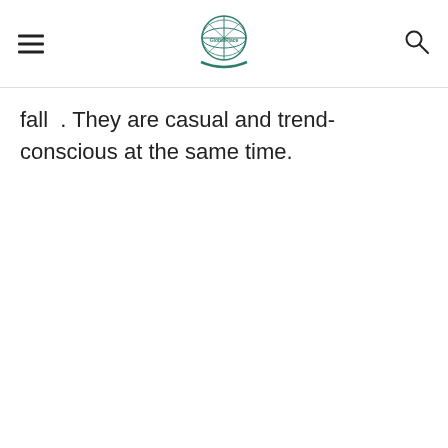[Navigation header with hamburger menu, globe logo, and search icon]
fall . They are casual and trend-conscious at the same time.